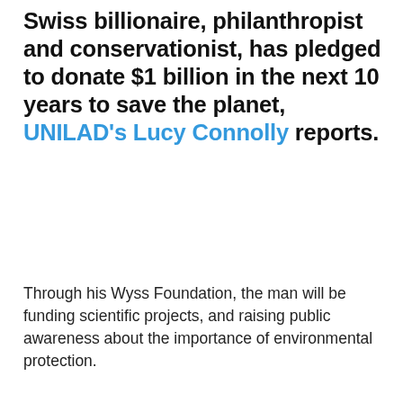Swiss billionaire, philanthropist and conservationist, has pledged to donate $1 billion in the next 10 years to save the planet, UNILAD's Lucy Connolly reports.
Through his Wyss Foundation, the man will be funding scientific projects, and raising public awareness about the importance of environmental protection.
[Figure (other): Advertisement placeholder box with light gray background]